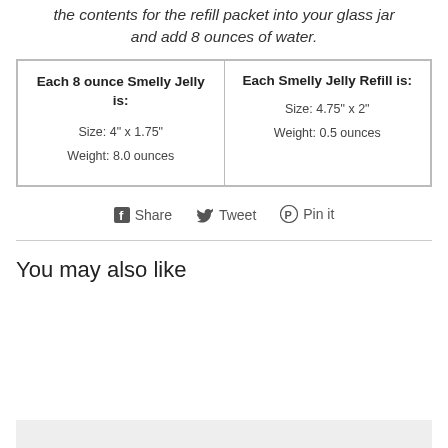the contents for the refill packet into your glass jar and add 8 ounces of water.
| Each 8 ounce Smelly Jelly is: | Each Smelly Jelly Refill is: |
| --- | --- |
| Size: 4" x 1.75"
Weight: 8.0 ounces | Size: 4.75" x 2"
Weight: 0.5 ounces |
[Figure (infographic): Social sharing buttons: Facebook Share, Twitter Tweet, Pinterest Pin it]
You may also like